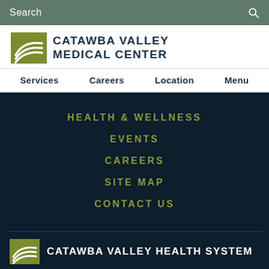Search
[Figure (logo): Catawba Valley Medical Center logo with stylized wave lines on olive/green square background and text CATAWBA VALLEY MEDICAL CENTER]
Services  Careers  Location  Menu
HEALTH & WELLNESS
EVENTS
CAREERS
SITE MAP
CONTACT US
[Figure (logo): Catawba Valley Health System logo with stylized wave lines icon and white text on dark navy background]